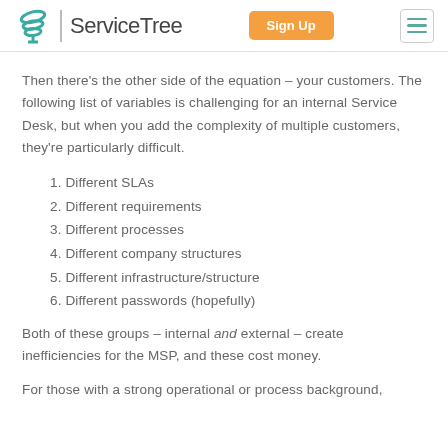ServiceTree | Sign Up
Then there's the other side of the equation – your customers. The following list of variables is challenging for an internal Service Desk, but when you add the complexity of multiple customers, they're particularly difficult.
1. Different SLAs
2. Different requirements
3. Different processes
4. Different company structures
5. Different infrastructure/structure
6. Different passwords (hopefully)
Both of these groups – internal and external – create inefficiencies for the MSP, and these cost money.
For those with a strong operational or process background,